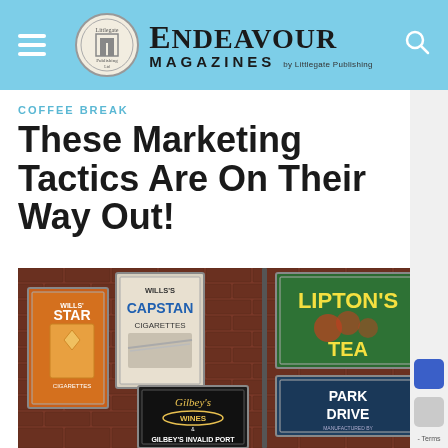Endeavour Magazines by Littlegate Publishing
COFFEE BREAK
These Marketing Tactics Are On Their Way Out!
[Figure (photo): Vintage advertising signs mounted on a brick wall, including Wills's Star Cigarettes, Wills's Capstan Cigarettes, Lipton's Tea, Park Drive, and Gilbey's Wines / Gilbey's Invalid Port signs.]